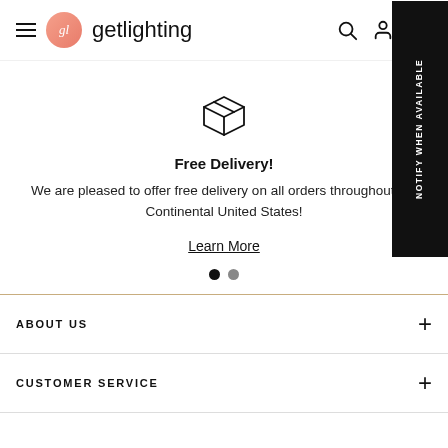getlighting - navigation header with hamburger menu, logo, search, account, and cart icons
[Figure (illustration): Package/box delivery icon outline]
Free Delivery!
We are pleased to offer free delivery on all orders throughout the Continental United States!
Learn More
ABOUT US
CUSTOMER SERVICE